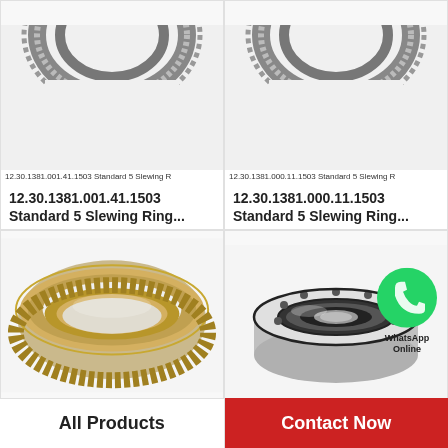[Figure (photo): Slewing ring bearing photo - top partially visible at top of left cell]
12.30.1381.001.41.1503 Standard 5 Slewing R
12.30.1381.001.41.1503 Standard 5 Slewing Ring...
[Figure (photo): Slewing ring bearing photo - top partially visible at top of right cell]
12.30.1381.000.11.1503 Standard 5 Slewing R
12.30.1381.000.11.1503 Standard 5 Slewing Ring...
[Figure (photo): Large slewing ring bearing with gear teeth, metallic gold/silver color]
192.20.1400.990.41.1502 Standard 5 Slewing
192.20.1400.990.41.1502 Standard 5 Slewing Ring...
[Figure (photo): Small compact slewing ring bearing, silver/chrome color, with WhatsApp Online overlay badge]
61.25.1255.575.11.1403 Standard 5 Slewing R
61.25.1255.575.11.1403 Standard 5 Slewing Ring...
All Products
Contact Now